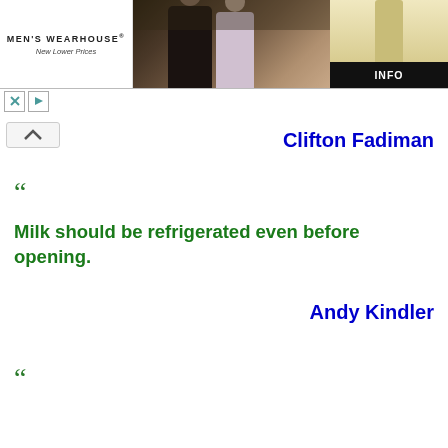[Figure (illustration): Men's Wearhouse advertisement banner with couple in formal wear on left and man in khaki suit on right, with INFO button]
“
Clifton Fadiman
Milk should be refrigerated even before opening.
Andy Kindler
“